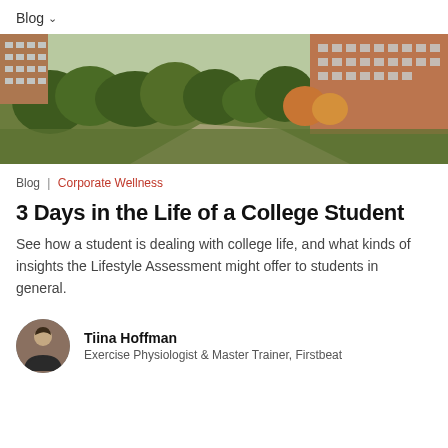Blog ∨
[Figure (photo): Aerial view of a college campus with brick buildings, green trees, and pathways]
Blog | Corporate Wellness
3 Days in the Life of a College Student
See how a student is dealing with college life, and what kinds of insights the Lifestyle Assessment might offer to students in general.
Tiina Hoffman
Exercise Physiologist & Master Trainer, Firstbeat